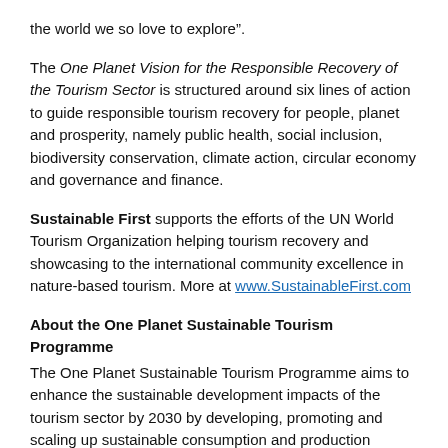the world we so love to explore”.
The One Planet Vision for the Responsible Recovery of the Tourism Sector is structured around six lines of action to guide responsible tourism recovery for people, planet and prosperity, namely public health, social inclusion, biodiversity conservation, climate action, circular economy and governance and finance.
Sustainable First supports the efforts of the UN World Tourism Organization helping tourism recovery and showcasing to the international community excellence in nature-based tourism. More at www.SustainableFirst.com
About the One Planet Sustainable Tourism Programme
The One Planet Sustainable Tourism Programme aims to enhance the sustainable development impacts of the tourism sector by 2030 by developing, promoting and scaling up sustainable consumption and production practices that boost the efficient use of natural resources, while producing less waste and addressing the challenges of climate change and biodiversity. The One Planet Sustainable Tourism Programme is led by UNWTO, with the